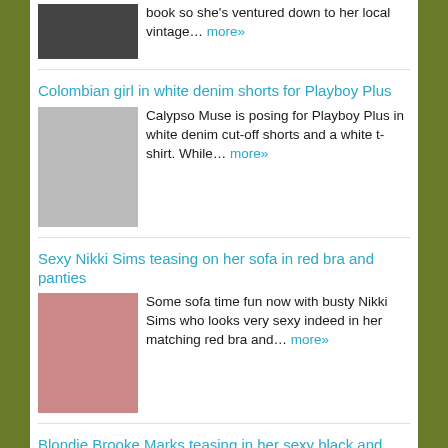book so she's ventured down to her local vintage… more»
Colombian girl in white denim shorts for Playboy Plus
Calypso Muse is posing for Playboy Plus in white denim cut-off shorts and a white t-shirt. While… more»
Sexy Nikki Sims teasing on her sofa in red bra and panties
Some sofa time fun now with busty Nikki Sims who looks very sexy indeed in her matching red bra and… more»
Blondie Brooke Marks teasing in her sexy black and white underwear
In a dimly-lit kitchen that actually lends a certain amount of ambience to these pics, we see that… more»
Nikki Sims gives some nice poses in her pink tracksuit bottoms
Sporty babe Nikki Sims has decided to give the